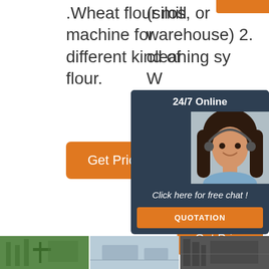.Wheat flour mill machine for different kind of flour.
[Figure (other): Orange 'Get Price' button on left side]
wheat storage (silos, or warehouse) 2. cleaning sy... W... Fl... de... se... m... so... da...
[Figure (infographic): 24/7 Online chat overlay with customer service agent photo, 'Click here for free chat!' text, QUOTATION button]
[Figure (other): Orange 'Get Price' button on right side, with 'TOP' label below]
[Figure (photo): Three thumbnail photos at the bottom: industrial/factory images]